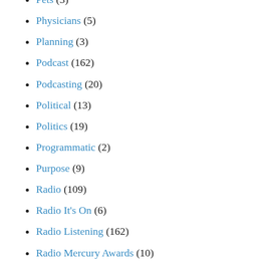Pets (3)
Physicians (5)
Planning (3)
Podcast (162)
Podcasting (20)
Political (13)
Politics (19)
Programmatic (2)
Purpose (9)
Radio (109)
Radio It's On (6)
Radio Listening (162)
Radio Mercury Awards (10)
Radio Show (3)
Reach (93)
Real Estate (7)
Real Estate Agents (1)